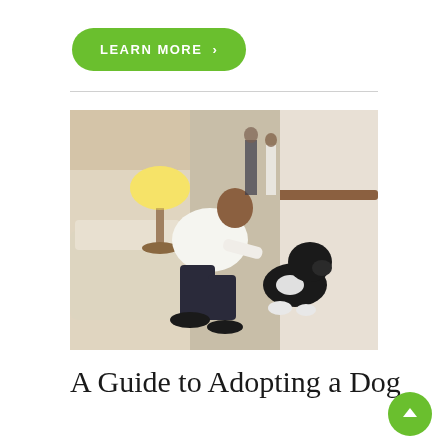LEARN MORE >
[Figure (photo): A person in a white shirt and dark pants crouching down to pet a black and white dog (a Portuguese Water Dog) in a hotel hallway. A lamp and sofa are visible in the background, along with other people in the corridor.]
A Guide to Adopting a Dog